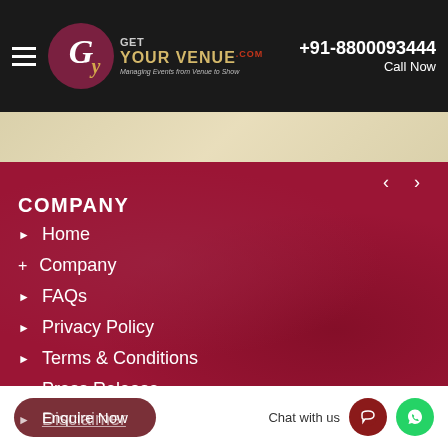+91-8800093444 Call Now
[Figure (logo): Get Your Venue .com logo with tagline Managing Events from Venue to Show]
COMPANY
Home
+ Company
FAQs
Privacy Policy
Terms & Conditions
Press Release
Disclaimer
Enquire Now   Chat with us